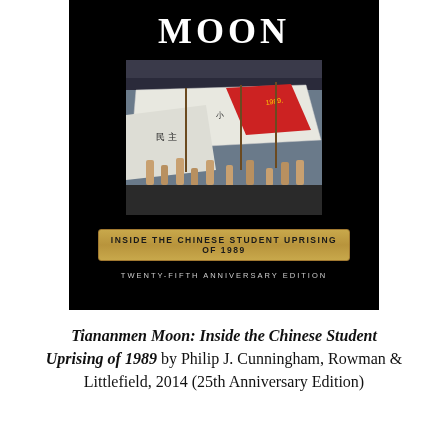[Figure (photo): Book cover of 'Tiananmen Moon: Inside the Chinese Student Uprising of 1989' by Philip J. Cunningham. Black cover with large white 'MOON' title text, a photograph of student protesters holding banners and flags, a gold banner reading 'INSIDE THE CHINESE STUDENT UPRISING OF 1989', and text 'TWENTY-FIFTH ANNIVERSARY EDITION'.]
Tiananmen Moon: Inside the Chinese Student Uprising of 1989 by Philip J. Cunningham, Rowman & Littlefield, 2014 (25th Anniversary Edition)